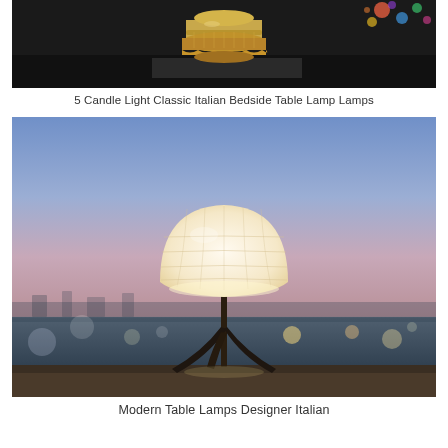[Figure (photo): Close-up photo of a decorative golden/silver ornate vintage candle lamp base against a dark background, with colorful bokeh lights in the upper right corner.]
5 Candle Light Classic Italian Bedside Table Lamp Lamps
[Figure (photo): A modern designer table lamp with a white quilted/textured dome shade on a tripod-style dark metal base, photographed outdoors at dusk against a blurred coastal/ocean background with bokeh city lights.]
Modern Table Lamps Designer Italian